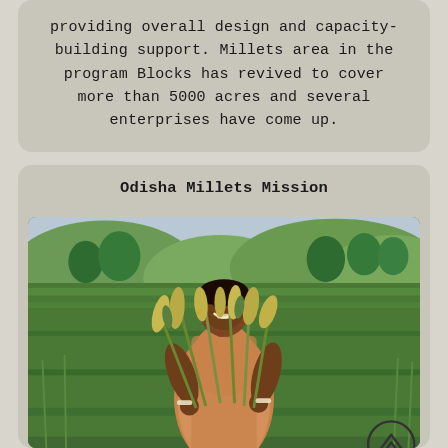providing overall design and capacity-building support. Millets area in the program Blocks has revived to cover more than 5000 acres and several enterprises have come up.
Odisha Millets Mission
[Figure (photo): A smiling woman in a saree standing in a green millet field, holding harvested millet stalks. Green hills and trees visible in the background.]